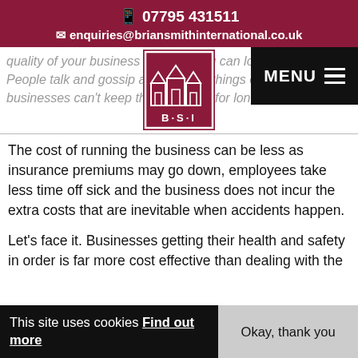📱 07795 431511
✉ enquiries@briansmithinternational.co.uk
quality of your business because you can lose you with. People talk and gossip and can find things on the Internet – businesses can't keep things hidden for long!
[Figure (logo): BSI (Brian Smith International) logo: house/building icon with BSI text]
The cost of running the business can be less as insurance premiums may go down, employees take less time off sick and the business does not incur the extra costs that are inevitable when accidents happen.
Let's face it. Businesses getting their health and safety in order is far more cost effective than dealing with the
This site uses cookies Find out more
Okay, thank you